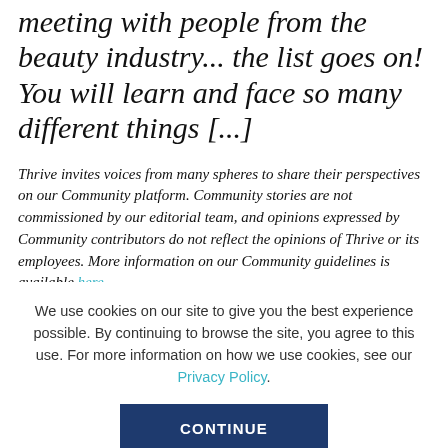meeting with people from the beauty industry... the list goes on! You will learn and face so many different things [...]
Thrive invites voices from many spheres to share their perspectives on our Community platform. Community stories are not commissioned by our editorial team, and opinions expressed by Community contributors do not reflect the opinions of Thrive or its employees. More information on our Community guidelines is available here.
By: Candice Gaerricdia, Founder of Digital Day Agency
We use cookies on our site to give you the best experience possible. By continuing to browse the site, you agree to this use. For more information on how we use cookies, see our Privacy Policy.